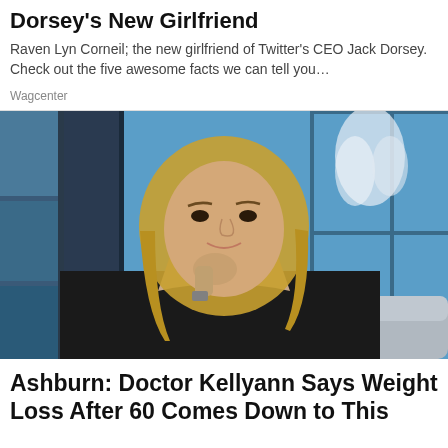Dorsey's New Girlfriend
Raven Lyn Corneil; the new girlfriend of Twitter's CEO Jack Dorsey. Check out the five awesome facts we can tell you…
Wagcenter
[Figure (photo): A blonde woman in a black outfit sitting on a couch, resting her chin on her hand, in front of a blue window backdrop on a TV talk show set.]
Ashburn: Doctor Kellyann Says Weight Loss After 60 Comes Down to This